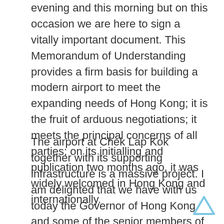evening and this morning but on this occasion we are here to sign a vitally important document. This Memorandum of Understanding provides a firm basis for building a modern airport to meet the expanding needs of Hong Kong; it is the fruit of arduous negotiations; it meets the principal concerns of all parties; on its initialling and publication two months ago, it was widely welcomed in Hong Kong and internationally.
The airport at Chek Lap Kok together with its supporting infrastructure is a massive project. I am delighted that we have with us today the Governor of Hong Kong and some of the senior members of the Hong Kong Government; it is they who have the overall responsibility for it. Work will now forge ahead. The first main call for tenders has already been issued; all such tenders will be open to